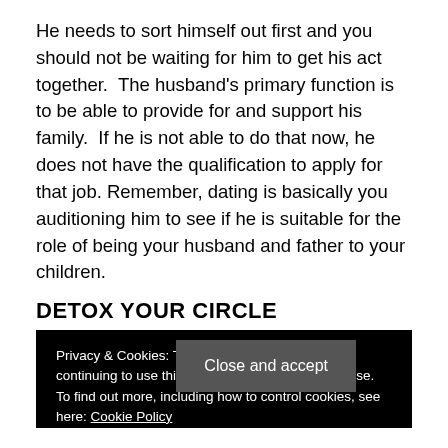He needs to sort himself out first and you should not be waiting for him to get his act together.  The husband's primary function is to be able to provide for and support his family.  If he is not able to do that now, he does not have the qualification to apply for that job. Remember, dating is basically you auditioning him to see if he is suitable for the role of being your husband and father to your children.
DETOX YOUR CIRCLE
Privacy & Cookies: This site uses cookies. By continuing to use this website, you agree to their use. To find out more, including how to control cookies, see here: Cookie Policy  Close and accept